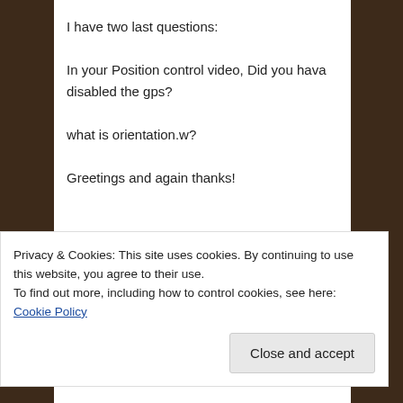I have two last questions:

In your Position control video, Did you hava disabled the gps?

what is orientation.w?

Greetings and again thanks!
★ Like
Privacy & Cookies: This site uses cookies. By continuing to use this website, you agree to their use.
To find out more, including how to control cookies, see here: Cookie Policy
Close and accept